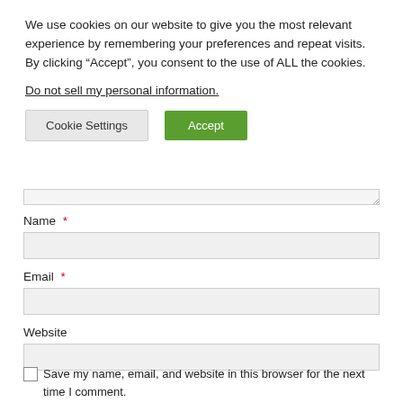We use cookies on our website to give you the most relevant experience by remembering your preferences and repeat visits. By clicking “Accept”, you consent to the use of ALL the cookies.
Do not sell my personal information.
Cookie Settings | Accept
Name *
Email *
Website
Save my name, email, and website in this browser for the next time I comment.